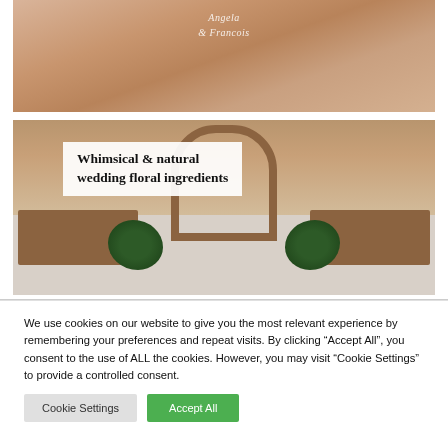[Figure (photo): Close-up photo of a wedding cake or floral arrangement in warm peachy-brown tones with cursive text overlay reading a name and date]
[Figure (photo): Wedding ceremony aisle photo with wooden arch, wooden pew benches, and green floral arrangements on the floor. White text overlay reads: Whimsical & natural wedding floral ingredients]
We use cookies on our website to give you the most relevant experience by remembering your preferences and repeat visits. By clicking “Accept All”, you consent to the use of ALL the cookies. However, you may visit "Cookie Settings" to provide a controlled consent.
Cookie Settings
Accept All